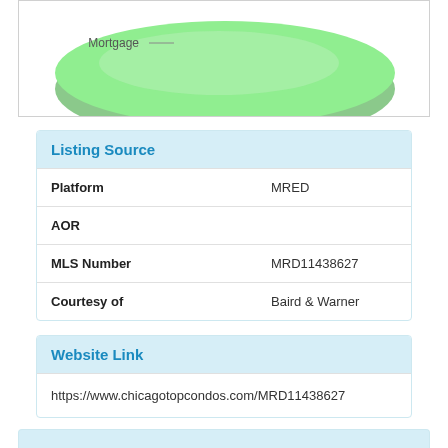[Figure (pie-chart): 3D pie chart showing Mortgage slice, nearly full circle in green]
Listing Source
|  |  |
| --- | --- |
| Platform | MRED |
| AOR |  |
| MLS Number | MRD11438627 |
| Courtesy of | Baird & Warner |
Website Link
https://www.chicagotopcondos.com/MRD11438627